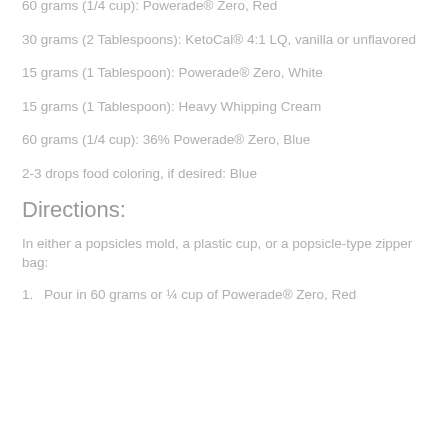60 grams (1/4 cup): Powerade® Zero, Red
30 grams (2 Tablespoons): KetoCal® 4:1 LQ, vanilla or unflavored
15 grams (1 Tablespoon): Powerade® Zero, White
15 grams (1 Tablespoon): Heavy Whipping Cream
60 grams (1/4 cup): 36% Powerade® Zero, Blue
2-3 drops food coloring, if desired: Blue
Directions:
In either a popsicles mold, a plastic cup, or a popsicle-type zipper bag:
1.  Pour in 60 grams or ¼ cup of Powerade® Zero, Red